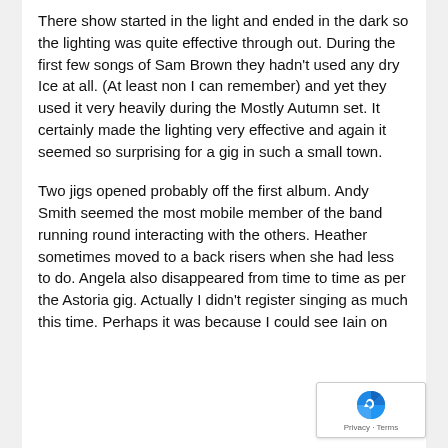There show started in the light and ended in the dark so the lighting was quite effective through out. During the first few songs of Sam Brown they hadn't used any dry Ice at all. (At least non I can remember) and yet they used it very heavily during the Mostly Autumn set. It certainly made the lighting very effective and again it seemed so surprising for a gig in such a small town.
Two jigs opened probably off the first album. Andy Smith seemed the most mobile member of the band running round interacting with the others. Heather sometimes moved to a back risers when she had less to do. Angela also disappeared from time to time as per the Astoria gig. Actually I didn't register singing as much this time. Perhaps it was because I could see Iain on